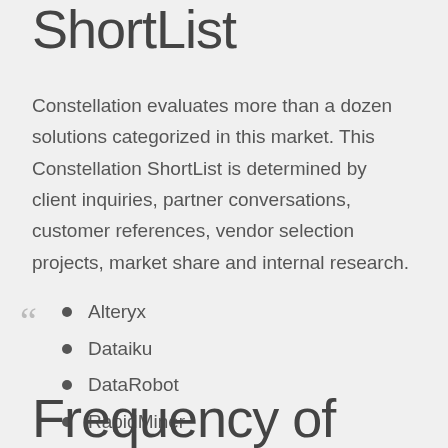ShortList
Constellation evaluates more than a dozen solutions categorized in this market. This Constellation ShortList is determined by client inquiries, partner conversations, customer references, vendor selection projects, market share and internal research.
Alteryx
Dataiku
DataRobot
RapidMiner
SAS Visual Data Mining and Machine Learning
Frequency of